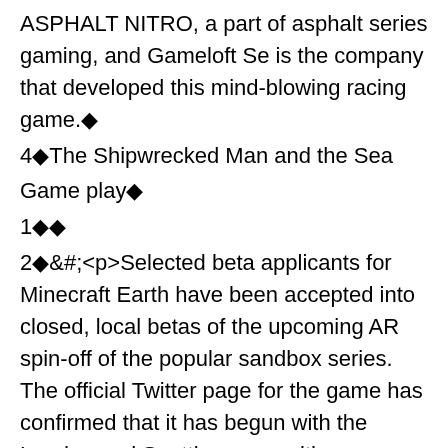ASPHALT NITRO, a part of asphalt series gaming, and Gameloft Se is the company that developed this mind-blowing racing game.◆
4◆The Shipwrecked Man and the Sea
Game play◆
1◆◆
2◆&#;<p>Selected beta applicants for Minecraft Earth have been accepted into closed, local betas of the upcoming AR spin-off of the popular sandbox series. The official Twitter page for the game has confirmed that it has begun with the London and Seattle areas, with 'thousands' of applicants accepted into the beta across the two cities.</p>
3◆Heroes and Puzzles Mod Heroes and Puzzles Mod v2.0.0.603 (Mod Money) Features:Mod MoneyThe mythical world of Runemoor is in dire need of a hero brave enough to free it from the reign of the terrible Necromancer. Puzzle your way through an exciting adventure, unlock the thrilling campaign story mode, and